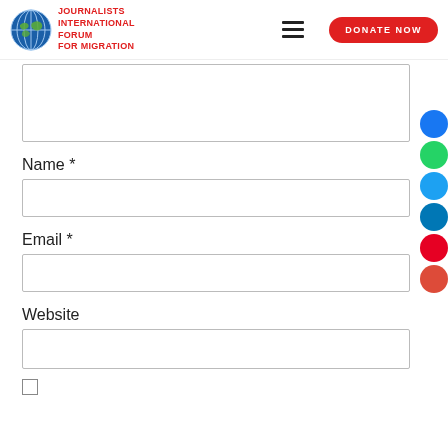JOURNALISTS INTERNATIONAL FORUM FOR MIGRATION | DONATE NOW
Name *
Email *
Website